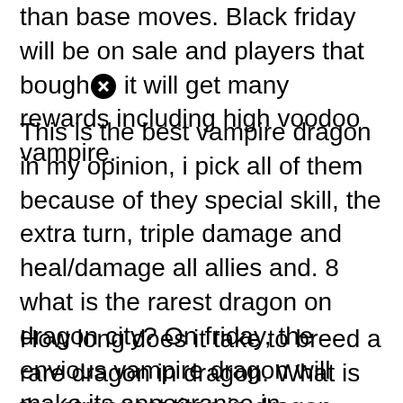than base moves. Black friday will be on sale and players that bought it will get many rewards including high voodoo vampire.
This is the best vampire dragon in my opinion, i pick all of them because of they special skill, the extra turn, triple damage and heal/damage all allies and. 8 what is the rarest dragon on dragon city? On friday, the envious vampire dragon will make its appearance in #dragoncity, bringing along with it the leader and most powerful of all vampires!
How long does it take to breed a rare dragon in dragon. What is the strongest titan in dragon city? Not much needs to be said, insane skills but again you can't trade for